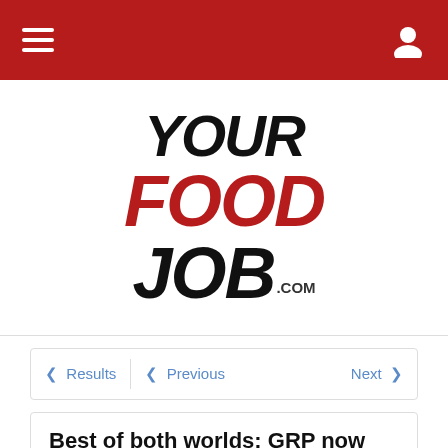YourFoodJob.com navigation bar
[Figure (logo): YourFoodJob.com logo — 'YOUR' in black bold italic, 'FOOD' in red bold italic, 'JOB' in black bold italic with '.com' superscript]
< Results  < Previous  Next >
Best of both worlds: GRP now includes 14-day listing on LinkedIn